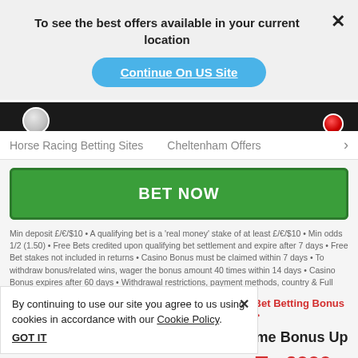To see the best offers available in your current location
Continue On US Site
[Figure (screenshot): Dark banner with poker chips at top]
Horse Racing Betting Sites   Cheltenham Offers  >
BET NOW
Min deposit £/€/$10 • A qualifying bet is a 'real money' stake of at least £/€/$10 • Min odds 1/2 (1.50) • Free Bets credited upon qualifying bet settlement and expire after 7 days • Free Bet stakes not included in returns • Casino Bonus must be claimed within 7 days • To withdraw bonus/related wins, wager the bonus amount 40 times within 14 days • Casino Bonus expires after 60 days • Withdrawal restrictions, payment methods, country & Full T&C's apply.
By continuing to use our site you agree to us using cookies in accordance with our Cookie Policy.
GOT IT
Get Betting Bonus >
me Bonus Up
To £000